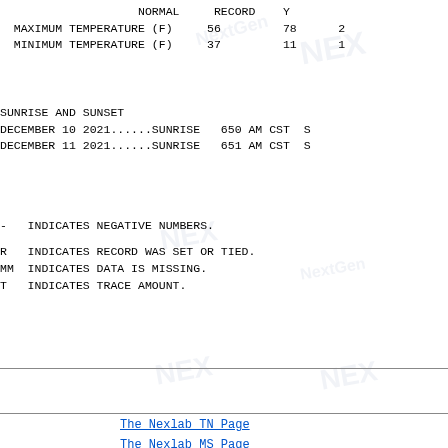|  | NORMAL | RECORD | Y |
| --- | --- | --- | --- |
|   MAXIMUM TEMPERATURE (F) | 56 | 78 | 2 |
|   MINIMUM TEMPERATURE (F) | 37 | 11 | 1 |
SUNRISE AND SUNSET
DECEMBER 10 2021......SUNRISE   650 AM CST  S
DECEMBER 11 2021......SUNRISE   651 AM CST  S
-   INDICATES NEGATIVE NUMBERS.
R   INDICATES RECORD WAS SET OR TIED.
MM  INDICATES DATA IS MISSING.
T   INDICATES TRACE AMOUNT.
CLICK HERE TO GO TO PREVIOUS BULLETINS.
The Nexlab TN Page
The Nexlab MS Page
The Nexlab AR Page